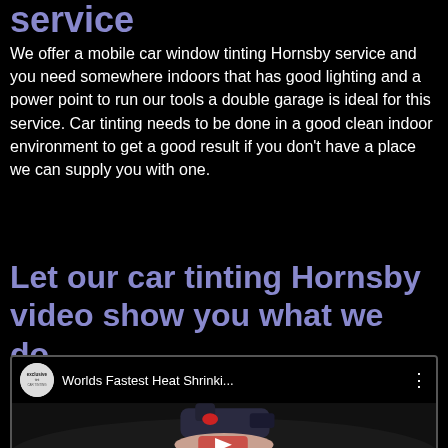service
We offer a mobile car window tinting Hornsby service and you need somewhere indoors that has good lighting and a power point to run our tools a double garage is ideal for this service. Car tinting needs to be done in a good clean indoor environment to get a good result if you don't have a place we can supply you with one.
Let our car tinting Hornsby video show you what we do.
[Figure (screenshot): YouTube video thumbnail showing 'Worlds Fastest Heat Shrinki...' with channel logo for exclusive tinting and a heat gun being used on a car window with a YouTube play button visible.]